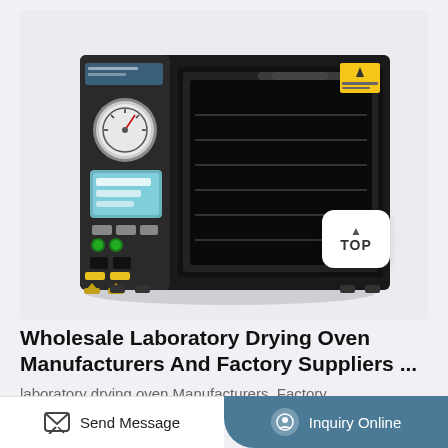[Figure (photo): Black laboratory vacuum drying oven with pressure gauge, digital display panel, green indicator lights, yellow valve fittings at bottom, and a large black door with shelving visible. A caution sticker is on the upper right of the unit. A white 'TOP' scroll button is visible to the right of the oven.]
Wholesale Laboratory Drying Oven Manufacturers And Factory Suppliers ...
laboratory drying oven Manufacturers, Factory,